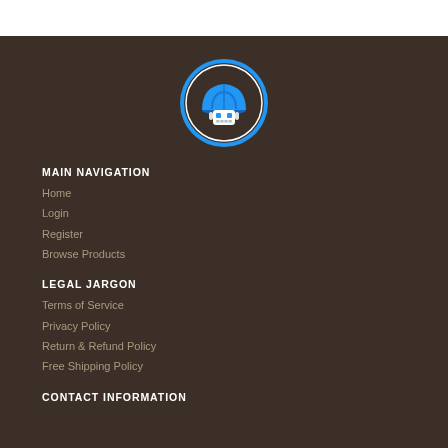[Figure (logo): Circular logo with blue hard hat and robot face on dark brown background]
MAIN NAVIGATION
Home
Login
Register
Browse Products
LEGAL JARGON
Terms of Service
Privacy Policy
Return & Refund Policy
Free Shipping Policy
CONTACT INFORMATION